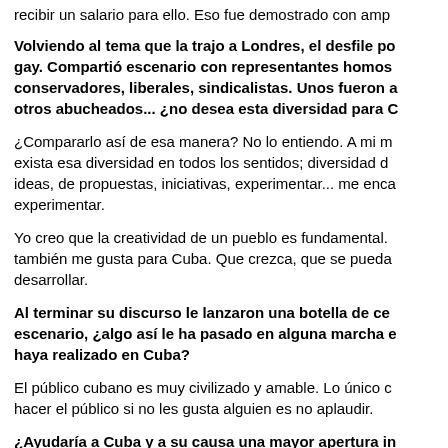recibir un salario para ello. Eso fue demostrado con amp
Volviendo al tema que la trajo a Londres, el desfile po gay. Compartió escenario con representantes homos conservadores, liberales, sindicalistas. Unos fueron a otros abucheados... ¿no desea esta diversidad para C
¿Compararlo así de esa manera? No lo entiendo. A mi m exista esa diversidad en todos los sentidos; diversidad d ideas, de propuestas, iniciativas, experimentar... me enc experimentar.
Yo creo que la creatividad de un pueblo es fundamental. también me gusta para Cuba. Que crezca, que se pueda desarrollar.
Al terminar su discurso le lanzaron una botella de ce escenario, ¿algo así le ha pasado en alguna marcha e haya realizado en Cuba?
El público cubano es muy civilizado y amable. Lo único c hacer el público si no les gusta alguien es no aplaudir.
¿Ayudaría a Cuba y a su causa una mayor apertura in